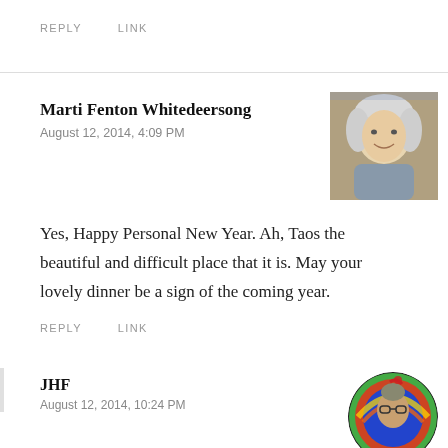REPLY   LINK
Marti Fenton Whitedeersong
August 12, 2014, 4:09 PM
[Figure (photo): Profile photo of an elderly woman with long white/grey hair, smiling, outdoors.]
Yes, Happy Personal New Year. Ah, Taos the beautiful and difficult place that it is. May your lovely dinner be a sign of the coming year.
REPLY   LINK
JHF
August 12, 2014, 10:24 PM
[Figure (photo): Circular profile photo of a person with colorful/rainbow background.]